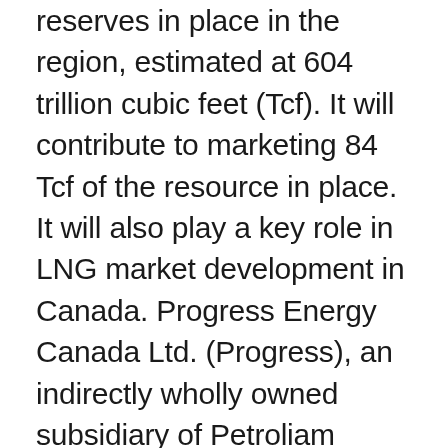reserves in place in the region, estimated at 604 trillion cubic feet (Tcf). It will contribute to marketing 84 Tcf of the resource in place. It will also play a key role in LNG market development in Canada. Progress Energy Canada Ltd. (Progress), an indirectly wholly owned subsidiary of Petroliam Nasional Berhad (PETRONAS), is the largest leaseholder in the North Montney area and the Project's main shipper. It is committed to supplying natural gas from the North Montney area to the Pacific NorthWest LNG Project, which is a proposed LNG liquefaction and export facility (PNW LNG